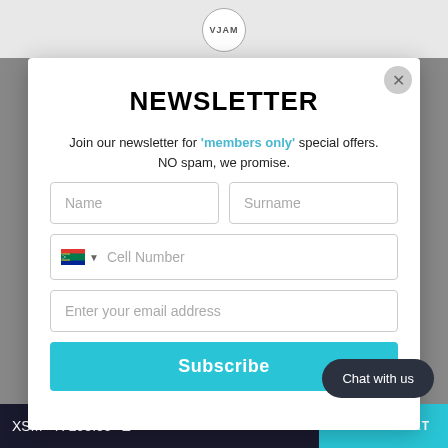[Figure (logo): VJAM circular logo at top center]
NEWSLETTER
Join our newsletter for 'members only' special offers. NO spam, we promise.
Name (input field)
Surname (input field)
Cell Number (input field with South Africa flag)
Enter your email address (input field)
Subscribe (button)
Chat with us
XSM - R 295.00   ADD TO CART